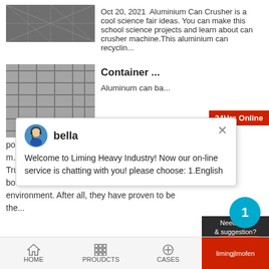[Figure (photo): Industrial aluminium can crusher machinery, overhead view]
Oct 20, 2021  Aluminium Can Crusher is a cool science fair ideas. You can make this school science projects and learn about can crusher machine.This aluminium can recyclin...
[Figure (photo): Red and white 24hrs Online badge/tab on right edge]
[Figure (photo): Industrial container/aluminium can baling machinery]
Container ...
Aluminum can ba... popular size reduction machine in aluminum can m... Truthfully, aluminum cans have been a huge boom... environment. After all, they have proven to be the...
[Figure (screenshot): Chat popup with bella avatar and welcome message: Welcome to Liming Heavy Industry! Now our on-line service is chatting with you! please choose: 1.English]
[Figure (infographic): Notification bubble showing number 1 in cyan circle, Need question & suggestion panel, Chat Now button, Enquiry button]
HOME   PROUDCTS   CASES   limingjlmofen